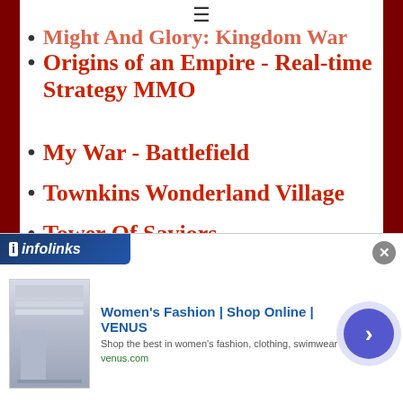Might And Glory: Kingdom War (partially visible/clipped)
Origins of an Empire - Real-time Strategy MMO
My War - Battlefield
Townkins Wonderland Village
Tower Of Saviors
More Games
This Website is not affiliated With Lost Journey-Free. Trademarks are the property of their respective owners. Game Content and Materials Copyright Lost Journey-Free. All right reserved.
[Figure (screenshot): Infolinks advertisement banner showing Women's Fashion | Shop Online | VENUS ad with venus.com URL, a thumbnail of a fashion website, and a blue circular arrow button]